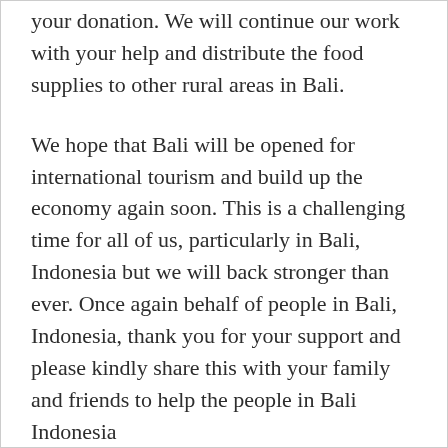your donation. We will continue our work with your help and distribute the food supplies to other rural areas in Bali.
We hope that Bali will be opened for international tourism and build up the economy again soon. This is a challenging time for all of us, particularly in Bali, Indonesia but we will back stronger than ever. Once again behalf of people in Bali, Indonesia, thank you for your support and please kindly share this with your family and friends to help the people in Bali Indonesia
God Bless